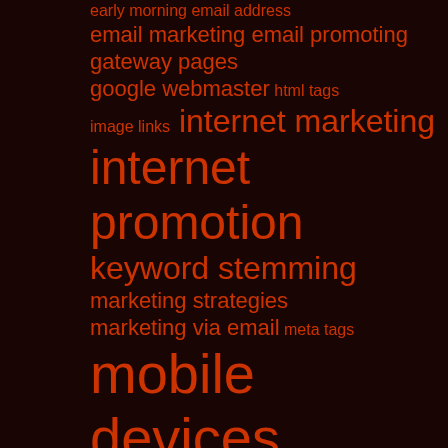early morning email address
email marketing email promoting
gateway pages
google webmaster html tags
image links internet marketing
internet promotion
keyword stemming
marketing strategies
marketing via email meta tags
mobile devices
mobile marketing
mobile marketing campaign
mobile marketing efforts
online business
online marketing qr codes
search engine